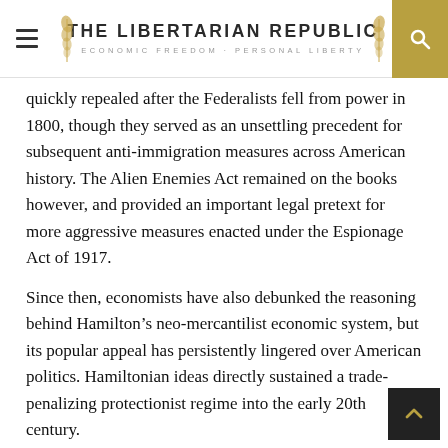THE LIBERTARIAN REPUBLIC — ECONOMIC FREEDOM + PERSONAL LIBERTY
quickly repealed after the Federalists fell from power in 1800, though they served as an unsettling precedent for subsequent anti-immigration measures across American history. The Alien Enemies Act remained on the books however, and provided an important legal pretext for more aggressive measures enacted under the Espionage Act of 1917.
Since then, economists have also debunked the reasoning behind Hamilton’s neo-mercantilist economic system, but its popular appeal has persistently lingered over American politics. Hamiltonian ideas directly sustained a trade-penalizing protectionist regime into the early 20th century.